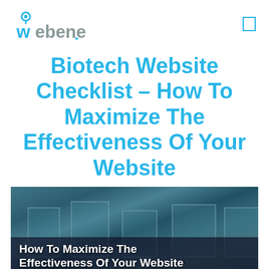[Figure (logo): Webene company logo in cyan/blue color with circular pin icon above the 'w']
Biotech Website Checklist – How To Maximize The Effectiveness Of Your Website
[Figure (photo): Laboratory beakers/flasks on a dark background with overlay text 'How To Maximize The Effectiveness Of Your Website' in white bold font]